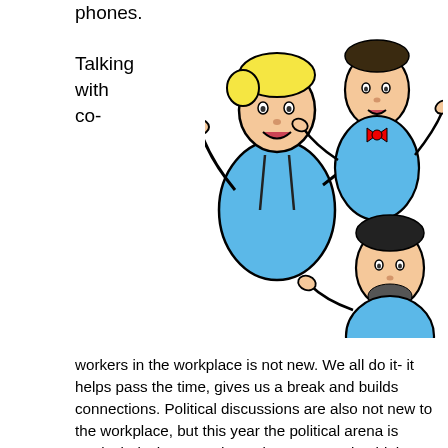phones.

Talking with co-
[Figure (illustration): Cartoon illustration of three people arguing or pointing at each other, wearing blue shirts. One has yellow hair, another has a red bow tie.]
workers in the workplace is not new. We all do it- it helps pass the time, gives us a break and builds connections. Political discussions are also not new to the workplace, but this year the political arena is particularly thorny and emotions are running high. In the workplace, expressing your emotions and opinions might or might not be advisable. A few things to consider before you open your mouth:
1- Do your job– In the above examples, workers were shirking job responsibilities in favor of chatting with co-workers. Remember, you are on the clock- so the chatting shouldn't prevent you from doing your job. Plenty of time